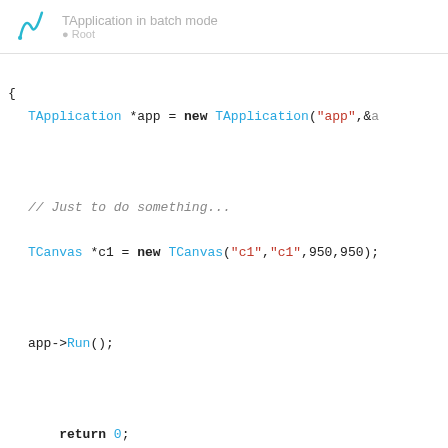TApplication in batch mode
[Figure (screenshot): Code snippet showing TApplication and TCanvas usage in C++ with syntax highlighting]
And I can compile it, run it, I have the window opened and everything's fine. The problem now, comes from when I want to run it in batch mode using the option '-b' like
./test -b

So no window is opened and things goes well, but it still hangs in the Run() part, and I have to leave it with ^C

Is that expected? Is there any option that w
1 / 4